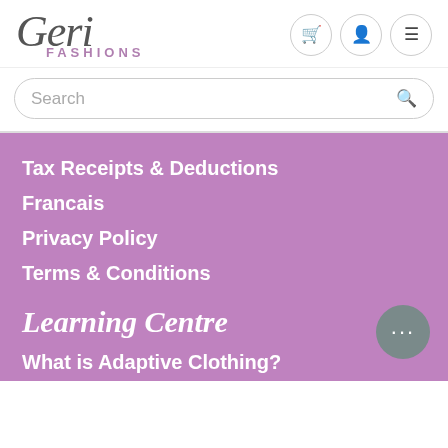[Figure (logo): Geri Fashions logo — 'Geri' in large italic serif font and 'FASHIONS' in small purple spaced caps below]
Search
Tax Receipts & Deductions
Francais
Privacy Policy
Terms & Conditions
Learning Centre
What is Adaptive Clothing?
Adaptive Catalogue
Clothing Size Guide
Help for Caregivers